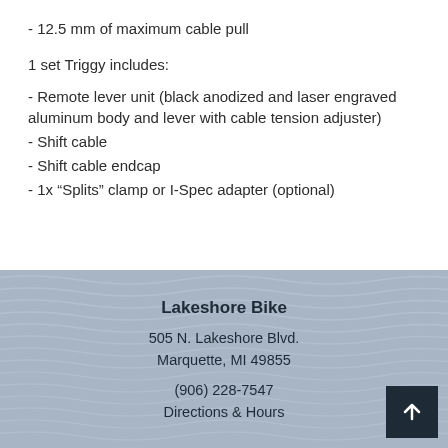- 12.5 mm of maximum cable pull
1 set Triggy includes:
- Remote lever unit (black anodized and laser engraved aluminum body and lever with cable tension adjuster)
- Shift cable
- Shift cable endcap
- 1x "Splits" clamp or I-Spec adapter (optional)
Lakeshore Bike
505 N. Lakeshore Blvd.
Marquette, MI 49855
(906) 228-7547
Directions & Hours